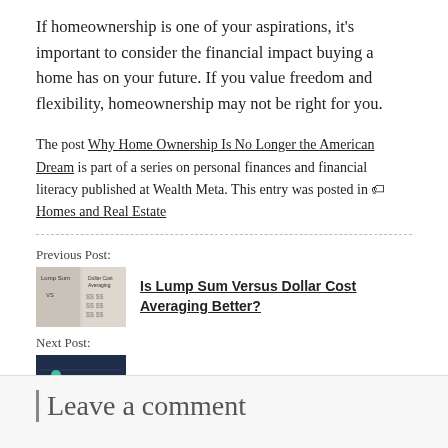If homeownership is one of your aspirations, it's important to consider the financial impact buying a home has on your future. If you value freedom and flexibility, homeownership may not be right for you.
The post Why Home Ownership Is No Longer the American Dream is part of a series on personal finances and financial literacy published at Wealth Meta. This entry was posted in Homes and Real Estate
Previous Post:
[Figure (photo): Thumbnail image for Lump Sum vs Dollar Cost Averaging article showing handwritten text]
Is Lump Sum Versus Dollar Cost Averaging Better?
Next Post:
[Figure (photo): Thumbnail image for How Much to Save for College article showing person at chalkboard]
How Much to Save for College?
Leave a comment